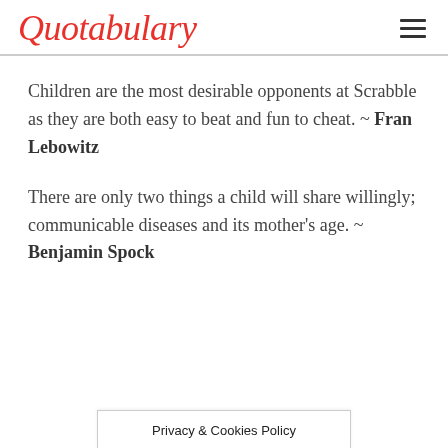Quotabulary
Children are the most desirable opponents at Scrabble as they are both easy to beat and fun to cheat. ~ Fran Lebowitz
There are only two things a child will share willingly; communicable diseases and its mother's age. ~ Benjamin Spock
Privacy & Cookies Policy